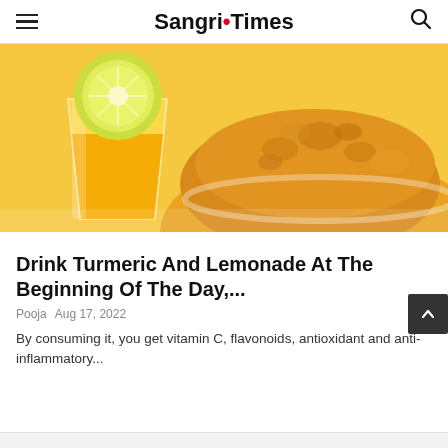Sangri Times
[Figure (photo): A glass of turmeric lemonade with a lemon slice on top, next to a bowl filled with turmeric powder, on a yellow background.]
Drink Turmeric And Lemonade At The Beginning Of The Day,...
Pooja  Aug 17, 2022
By consuming it, you get vitamin C, flavonoids, antioxidant and anti-inflammatory...